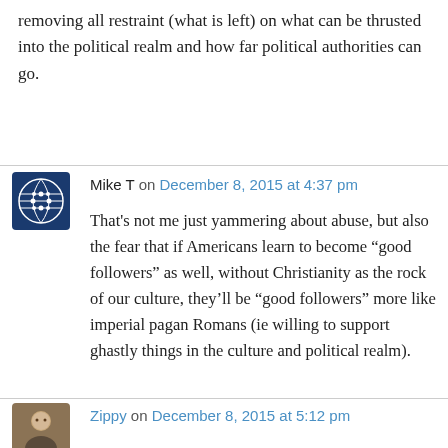removing all restraint (what is left) on what can be thrusted into the political realm and how far political authorities can go.
Mike T on December 8, 2015 at 4:37 pm
That's not me just yammering about abuse, but also the fear that if Americans learn to become “good followers” as well, without Christianity as the rock of our culture, they’ll be “good followers” more like imperial pagan Romans (ie willing to support ghastly things in the culture and political realm).
Zippy on December 8, 2015 at 5:12 pm